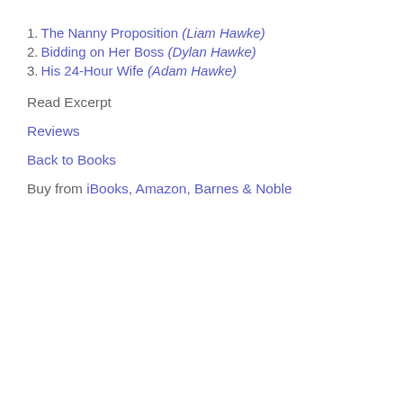1. The Nanny Proposition (Liam Hawke)
2. Bidding on Her Boss (Dylan Hawke)
3. His 24-Hour Wife (Adam Hawke)
Read Excerpt
Reviews
Back to Books
Buy from iBooks, Amazon, Barnes & Noble